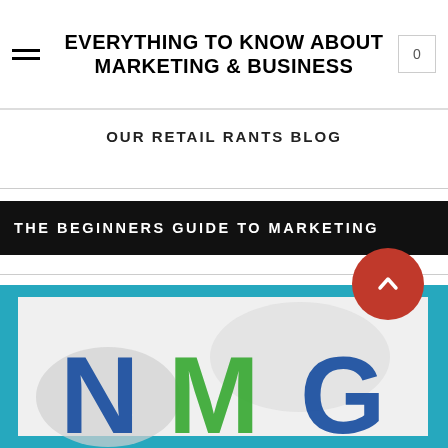EVERYTHING TO KNOW ABOUT MARKETING & BUSINESS
OUR RETAIL RANTS BLOG
THE BEGINNERS GUIDE TO MARKETING
[Figure (logo): NMG logo with large letters N, M, G in blue, green, and blue gradient colors on a light gray background with a teal/blue border frame. A red circular scroll-to-top button with a chevron icon overlaps the top-right area.]